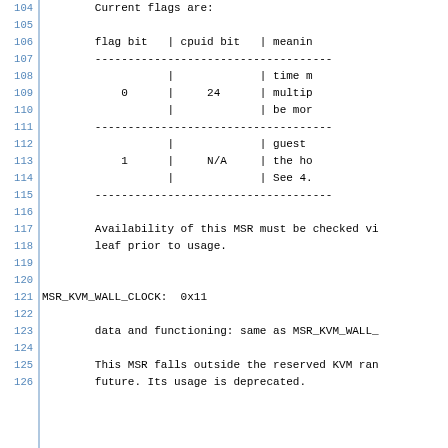Current flags are:
| flag bit | cpuid bit | meaning |
| --- | --- | --- |
|  | | | | time m |
| 0 | | 24 | | multip |
|  | | | | be mor |
|  | | | | guest |
| 1 | | N/A | | the ho |
|  | | | | See 4. |
Availability of this MSR must be checked vi leaf prior to usage.
MSR_KVM_WALL_CLOCK:  0x11
data and functioning: same as MSR_KVM_WALL_
This MSR falls outside the reserved KVM ra future. Its usage is deprecated.